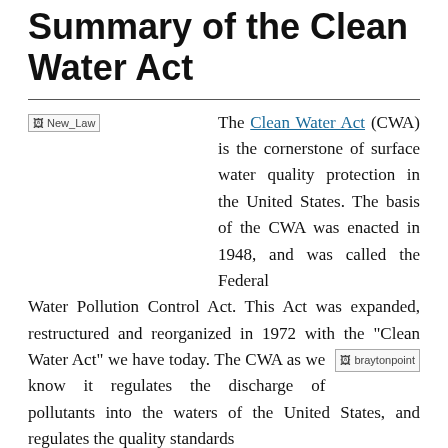Summary of the Clean Water Act
[Figure (illustration): Broken image placeholder labeled 'New_Law']
The Clean Water Act (CWA) is the cornerstone of surface water quality protection in the United States. The basis of the CWA was enacted in 1948, and was called the Federal Water Pollution Control Act. This Act was expanded, restructured and reorganized in 1972 with the "Clean Water Act" we have today. The CWA as we know it regulates the discharge of pollutants into the waters of the United States, and regulates the quality standards for surface waters.
[Figure (photo): Broken image placeholder labeled 'braytonpoint']